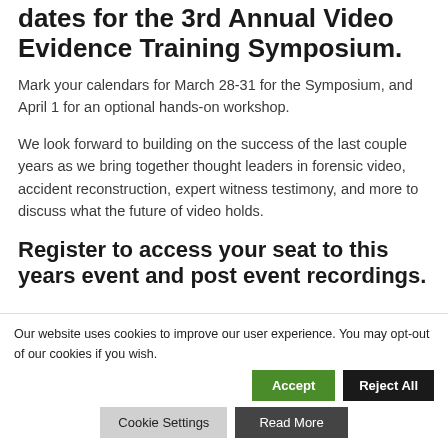dates for the 3rd Annual Video Evidence Training Symposium.
Mark your calendars for March 28-31 for the Symposium, and April 1 for an optional hands-on workshop.
We look forward to building on the success of the last couple years as we bring together thought leaders in forensic video, accident reconstruction, expert witness testimony, and more to discuss what the future of video holds.
Register to access your seat to this years event and post event recordings.
Our website uses cookies to improve our user experience. You may opt-out of our cookies if you wish.
Accept | Reject All | Cookie Settings | Read More